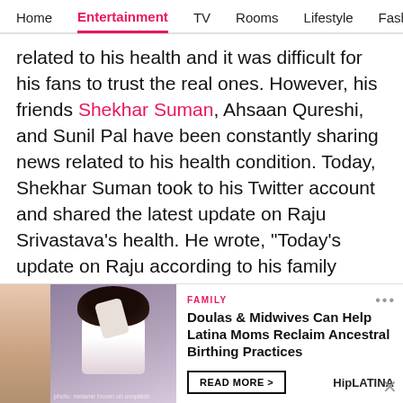Home | Entertainment | TV | Rooms | Lifestyle | Fash
related to his health and it was difficult for his fans to trust the real ones. However, his friends Shekhar Suman, Ahsaan Qureshi, and Sunil Pal have been constantly sharing news related to his health condition. Today, Shekhar Suman took to his Twitter account and shared the latest update on Raju Srivastava's health. He wrote, "Today's update on Raju according to his family members... his organs are functioning normally. Though still unconscious, doctor says, he is supposedly improving steadily. Mahadev ki kripa. Har Har
[Figure (photo): Advertisement banner: Photo of a person with curly hair in white clothing. FAMILY tag. Text: Doulas & Midwives Can Help Latina Moms Reclaim Ancestral Birthing Practices. READ MORE button. HipLATINA brand logo.]